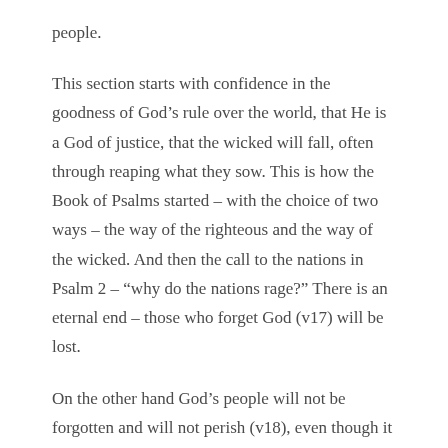people.
This section starts with confidence in the goodness of God’s rule over the world, that He is a God of justice, that the wicked will fall, often through reaping what they sow. This is how the Book of Psalms started – with the choice of two ways – the way of the righteous and the way of the wicked. And then the call to the nations in Psalm 2 – “why do the nations rage?” There is an eternal end – those who forget God (v17) will be lost.
On the other hand God’s people will not be forgotten and will not perish (v18), even though it might seem like it for a while (notice “shall not always be forgotten”). Notice how often the idea of remembering is seen in this psalm: v1b: “I will recount”, v6: the memory of the wicked perishes, v12: the Lord does not forget the cry of the